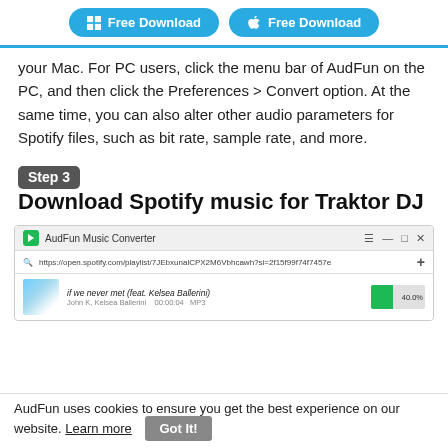Free Download (Windows) | Free Download (Mac)
your Mac. For PC users, click the menu bar of AudFun on the PC, and then click the Preferences > Convert option. At the same time, you can also alter other audio parameters for Spotify files, such as bit rate, sample rate, and more.
Step 3   Download Spotify music for Traktor DJ
[Figure (screenshot): Screenshot of AudFun Music Converter application showing a Spotify playlist URL in the address bar and a track 'if we never met (feat. Kelsea Ballerini)' with a green progress bar showing 40.0%]
AudFun uses cookies to ensure you get the best experience on our website. Learn more   Got It!